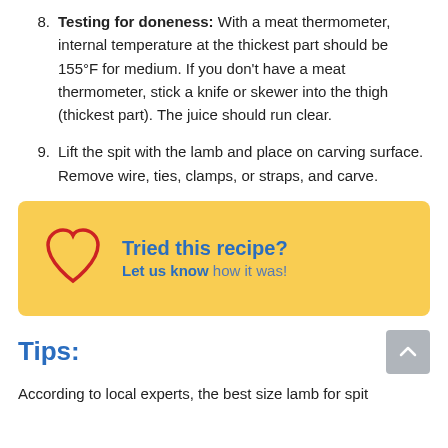8. Testing for doneness: With a meat thermometer, internal temperature at the thickest part should be 155°F for medium. If you don't have a meat thermometer, stick a knife or skewer into the thigh (thickest part). The juice should run clear.
9. Lift the spit with the lamb and place on carving surface. Remove wire, ties, clamps, or straps, and carve.
[Figure (infographic): Yellow call-to-action box with a red heart outline icon and text 'Tried this recipe? Let us know how it was!']
Tips:
According to local experts, the best size lamb for spit